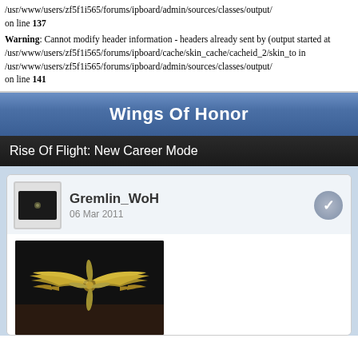/usr/www/users/zf5f1i565/forums/ipboard/admin/sources/classes/output/ on line 137
Warning: Cannot modify header information - headers already sent by (output started at /usr/www/users/zf5f1i565/forums/ipboard/cache/skin_cache/cacheid_2/skin_to in /usr/www/users/zf5f1i565/forums/ipboard/admin/sources/classes/output/ on line 141
Wings Of Honor
Rise Of Flight: New Career Mode
Gremlin_WoH
06 Mar 2011
[Figure (photo): A metallic wings emblem with a propeller in the center, gold/bronze colored, on a dark background]